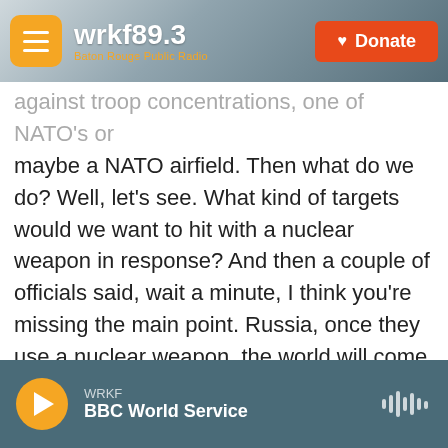wrkf89.3 Baton Rouge Public Radio | Donate
against troop concentrations, one of NATO's or maybe a NATO airfield. Then what do we do? Well, let's see. What kind of targets would we want to hit with a nuclear weapon in response? And then a couple of officials said, wait a minute, I think you're missing the main point. Russia, once they use a nuclear weapon, the world will come down upon them. Nobody's used a nuclear weapon in anger since 1945. They're going to get slammed with every kind of sanction and every kind of isolation you can imagine. Let's just keep fighting the war with conventional weapons, which is extraordinary. I mean...
WRKF | BBC World Service